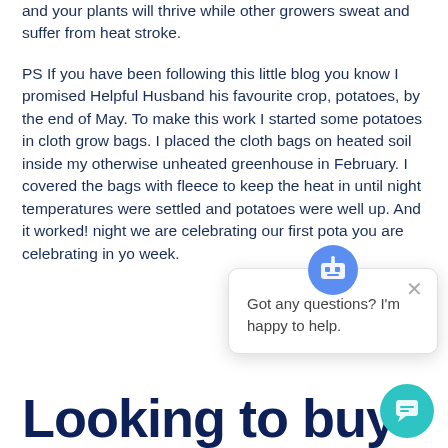and your plants will thrive while other growers sweat and suffer from heat stroke.

PS If you have been following this little blog you know I promised Helpful Husband his favourite crop, potatoes, by the end of May. To make this work I started some potatoes in cloth grow bags. I placed the cloth bags on heated soil inside my otherwise unheated greenhouse in February. I covered the bags with fleece to keep the heat in until night temperatures were settled and potatoes were well up. And it worked! …night we are celebrating our first pota… you are celebrating in yo… week.
[Figure (screenshot): Chat popup overlay with bot icon at top, close X button, and text 'Got any questions? I'm happy to help.']
[Figure (illustration): Teal circular chat button in bottom right corner]
Looking to buy